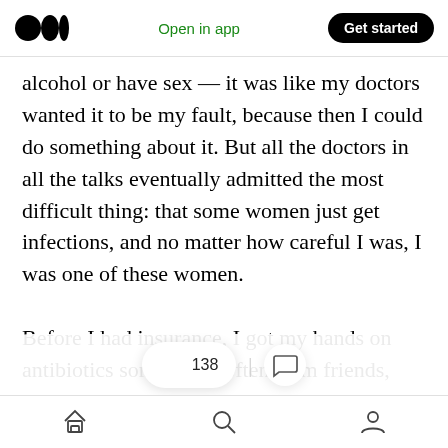Medium logo | Open in app | Get started
alcohol or have sex — it was like my doctors wanted it to be my fault, because then I could do something about it. But all the doctors in all the talks eventually admitted the most difficult thing: that some women just get infections, and no matter how careful I was, I was one of these women.

Before I had insurance, I got my hands on antibiotics sometimes, often from friends, and when I couldn't I drank cranberry juice by the quart. One night  138   a little E. coli
Home | Search | Profile